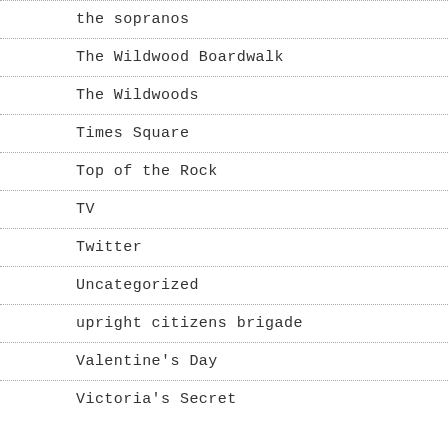the sopranos
The Wildwood Boardwalk
The Wildwoods
Times Square
Top of the Rock
TV
Twitter
Uncategorized
upright citizens brigade
Valentine's Day
Victoria's Secret